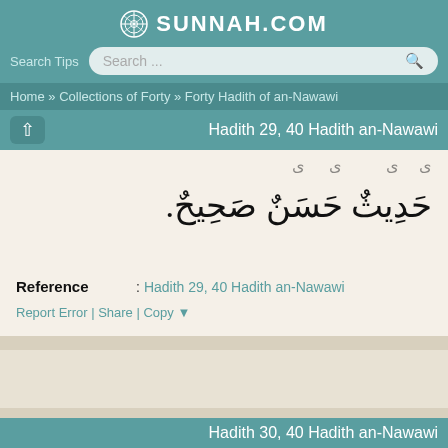SUNNAH.COM
Search Tips  Search ...
Home » Collections of Forty » Forty Hadith of an-Nawawi
Hadith 29, 40 Hadith an-Nawawi
[Figure (other): Arabic text showing hadith text and the phrase حَدِيثٌ حَسَنٌ صَحِيحٌ (A good and sound hadith)]
Reference : Hadith 29, 40 Hadith an-Nawawi
Report Error | Share | Copy ▼
Hadith 30, 40 Hadith an-Nawawi
On the authority of Abu Tha'labah el-Kushance — Jurthoom bin...